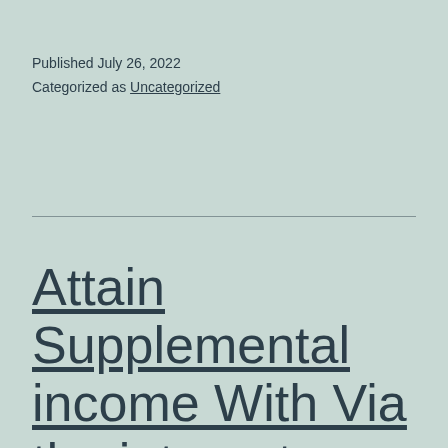Published July 26, 2022
Categorized as Uncategorized
Attain Supplemental income With Via the internet Wagering